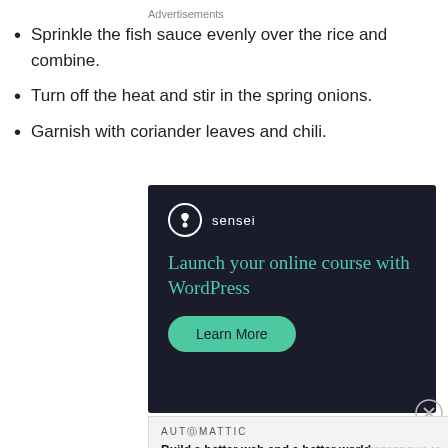Sprinkle the fish sauce evenly over the rice and combine.
Turn off the heat and stir in the spring onions.
Garnish with coriander leaves and chili.
Advertisements
[Figure (screenshot): Sensei advertisement on dark background: logo with tree icon, text 'Launch your online course with WordPress', and a 'Learn More' button in teal.]
Advertisements
[Figure (screenshot): Automattic advertisement: 'AUTOMATTIC' brand name and tagline 'Build a better web and a better world.']